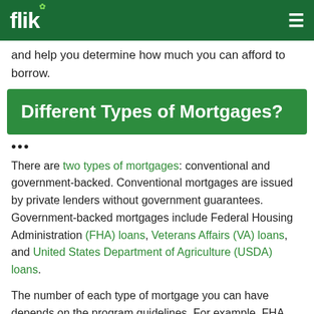flik
and help you determine how much you can afford to borrow.
Different Types of Mortgages?
...
There are two types of mortgages: conventional and government-backed. Conventional mortgages are issued by private lenders without government guarantees. Government-backed mortgages include Federal Housing Administration (FHA) loans, Veterans Affairs (VA) loans, and United States Department of Agriculture (USDA) loans.
The number of each type of mortgage you can have depends on the program guidelines. For example, FHA loan limits vary by county while VA loan limits are the same across the country. The maximum amount you can borrow also varies